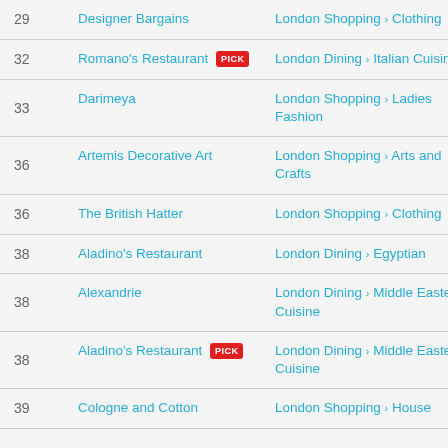| # | Name | Category |
| --- | --- | --- |
| 29 | Designer Bargains | London Shopping > Clothing |
| 32 | Romano's Restaurant [PICK] | London Dining > Italian Cuisine |
| 33 | Darimeya | London Shopping > Ladies Fashion |
| 36 | Artemis Decorative Art | London Shopping > Arts and Crafts |
| 36 | The British Hatter | London Shopping > Clothing |
| 38 | Aladino's Restaurant | London Dining > Egyptian |
| 38 | Alexandrie | London Dining > Middle Eastern Cuisine |
| 38 | Aladino's Restaurant [PICK] | London Dining > Middle Eastern Cuisine |
| 39 | Cologne and Cotton | London Shopping > House |